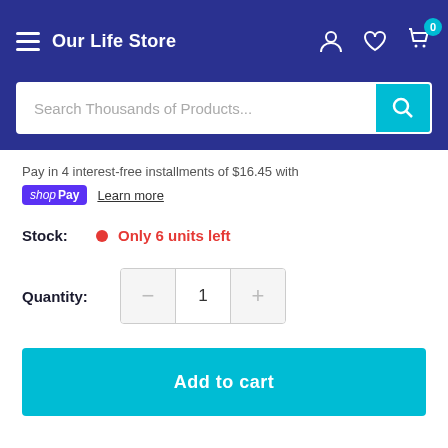Our Life Store
Search Thousands of Products...
Pay in 4 interest-free installments of $16.45 with
shop Pay  Learn more
Stock:  Only 6 units left
Quantity: 1
Add to cart